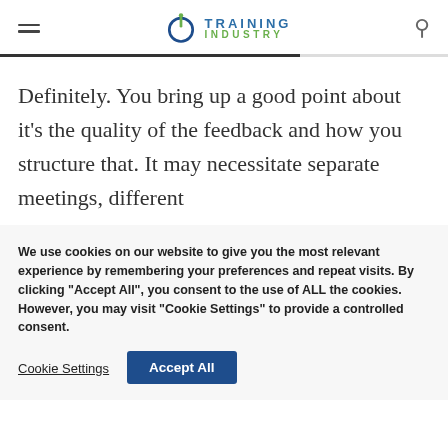Training Industry
Definitely. You bring up a good point about it's the quality of the feedback and how you structure that. It may necessitate separate meetings, different
We use cookies on our website to give you the most relevant experience by remembering your preferences and repeat visits. By clicking “Accept All”, you consent to the use of ALL the cookies. However, you may visit “Cookie Settings” to provide a controlled consent.
Cookie Settings | Accept All